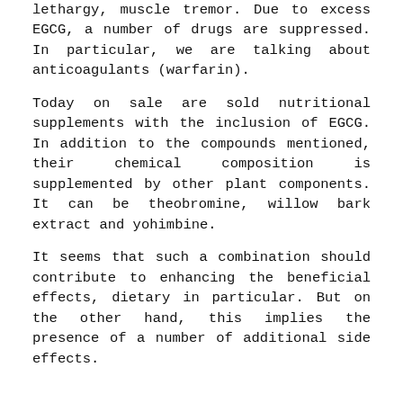lethargy, muscle tremor. Due to excess EGCG, a number of drugs are suppressed. In particular, we are talking about anticoagulants (warfarin).
Today on sale are sold nutritional supplements with the inclusion of EGCG. In addition to the compounds mentioned, their chemical composition is supplemented by other plant components. It can be theobromine, willow bark extract and yohimbine.
It seems that such a combination should contribute to enhancing the beneficial effects, dietary in particular. But on the other hand, this implies the presence of a number of additional side effects.
Green tea diet effect
Catechins - what is it for humans? For those who